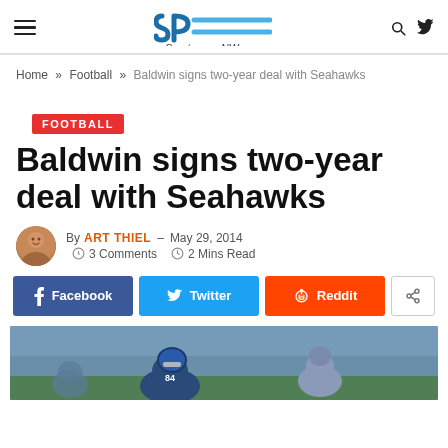SportspressNW.com
Home » Football » Baldwin signs two-year deal with Seahawks
FOOTBALL
Baldwin signs two-year deal with Seahawks
By ART THIEL – May 29, 2014  ◯ 3 Comments  ◷ 2 Mins Read
[Figure (screenshot): Social share buttons: Facebook, Twitter, Reddit, and a share icon button]
[Figure (photo): Photo of a Seahawks football player wearing jersey #84, in action during a game]